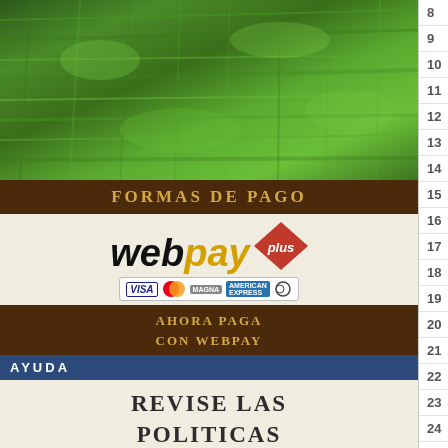[Figure (photo): Green grass photo in left panel]
FORMAS DE PAGO
[Figure (logo): WebPay plus logo with credit card icons (Visa, MasterCard, Magna, American Express, Diners)]
AHORA PAGA CON WEBPAY
AYUDA
REVISE LAS POLITICAS DE ENVIO
8  Inside (DTS)
9  Play in Time (DTS)
10  Sossity: You're a Woman (DTS)
11  Singing All Day (DTS)
12  Sweet Dream (DTS)
13  17 (DTS)
14  Teacher (UK Stereo) [DTS]
15  Teacher (Us Stereo) [DTS]
16  With You There to Help Me
17  Nothing to Say
18  Alive and Well and Living in
19  Son
20  For Michael Collins, Jeffrey and Me
21  To Cry You a Song
22  A Time for Everything
23  Inside
24  Play in Time
25  Sossity: You're a Woman
26  Singing All Day